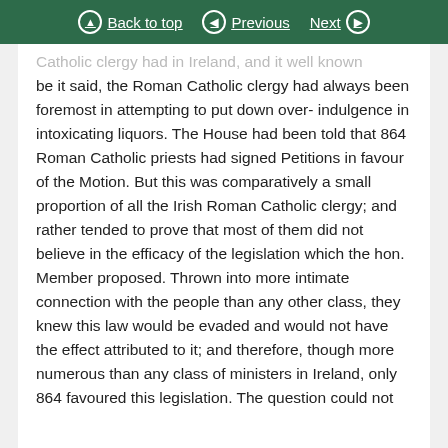Back to top | Previous | Next
Catholic clergy had in Ireland, and it well known be it said, the Roman Catholic clergy had always been foremost in attempting to put down over-indulgence in intoxicating liquors. The House had been told that 864 Roman Catholic priests had signed Petitions in favour of the Motion. But this was comparatively a small proportion of all the Irish Roman Catholic clergy; and rather tended to prove that most of them did not believe in the efficacy of the legislation which the hon. Member proposed. Thrown into more intimate connection with the people than any other class, they knew this law would be evaded and would not have the effect attributed to it; and therefore, though more numerous than any class of ministers in Ireland, only 864 favoured this legislation. The question could not